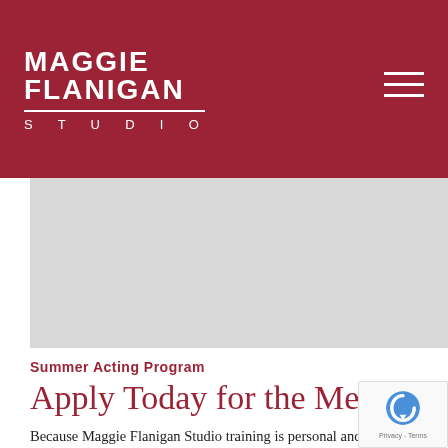MAGGIE FLANIGAN STUDIO
[Figure (photo): Grey placeholder hero image area below the header navigation]
Summer Acting Program
Apply Today for the Meisner Sum...
Because Maggie Flanigan Studio training is personal and inten... supportive community. For this reason, all potential ... that the actor's goals align with the program. Any in... maggieflanigan.com or they can call the studio for m...